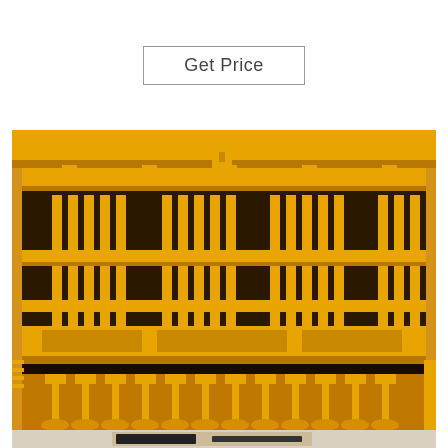Get Price
[Figure (photo): Close-up photograph of a yellow industrial brick/block making machine showing vertical mold columns with fins, horizontal frames, and ejector pins at the bottom, with a black mold tray on the ground in front]